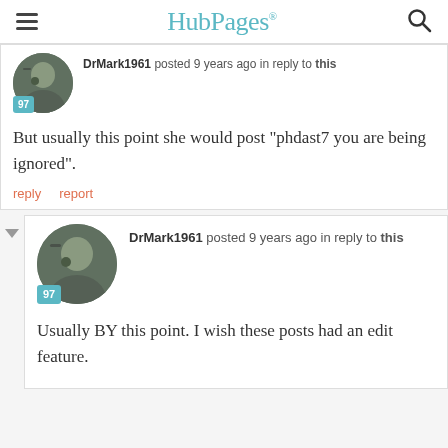HubPages
DrMark1961 posted 9 years ago in reply to this
But usually this point she would post "phdast7 you are being ignored".
reply   report
DrMark1961 posted 9 years ago in reply to this
Usually BY this point. I wish these posts had an edit feature.